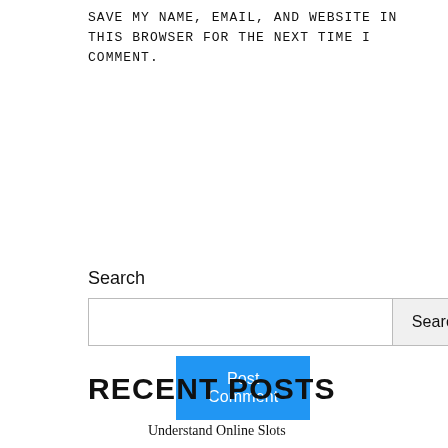SAVE MY NAME, EMAIL, AND WEBSITE IN THIS BROWSER FOR THE NEXT TIME I COMMENT.
[Figure (other): Blue 'Post Comment' button]
Search
[Figure (other): Search input field with Search button]
RECENT POSTS
Understand Online Slots
Tips For Right Online Casino
Want Your Paper to Be the Best It Can Be? Consider